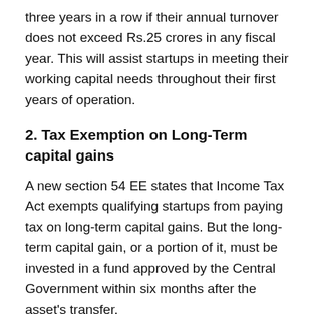three years in a row if their annual turnover does not exceed Rs.25 crores in any fiscal year. This will assist startups in meeting their working capital needs throughout their first years of operation.
2. Tax Exemption on Long-Term capital gains
A new section 54 EE states that Income Tax Act exempts qualifying startups from paying tax on long-term capital gains. But the long-term capital gain, or a portion of it, must be invested in a fund approved by the Central Government within six months after the asset's transfer.